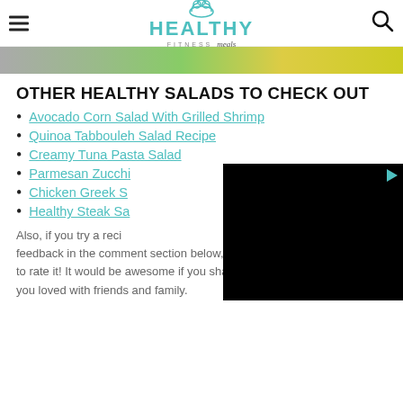HEALTHY FITNESS meals
[Figure (photo): Top portion of a food photo showing a bowl with green vegetables and yellow tomatoes/lemon]
OTHER HEALTHY SALADS TO CHECK OUT
Avocado Corn Salad With Grilled Shrimp
Quinoa Tabbouleh Salad Recipe
Creamy Tuna Pasta Salad
Parmesan Zucchini Pasta Salad
Chicken Greek Salad
Healthy Steak Salad
[Figure (screenshot): Black video player overlay partially covering the list items]
Also, if you try a recipe, I'd love to hear your feedback in the comment section below, and don't forget to rate it! It would be awesome if you share any recipe you loved with friends and family.